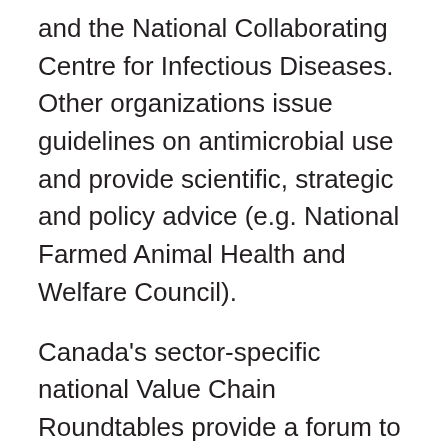and the National Collaborating Centre for Infectious Diseases. Other organizations issue guidelines on antimicrobial use and provide scientific, strategic and policy advice (e.g. National Farmed Animal Health and Welfare Council).
Canada's sector-specific national Value Chain Roundtables provide a forum to work directly with the animal industry on collaborative approaches to address antimicrobial resistance. Together with government, the industry advances discussions on the prudent use of antibiotics